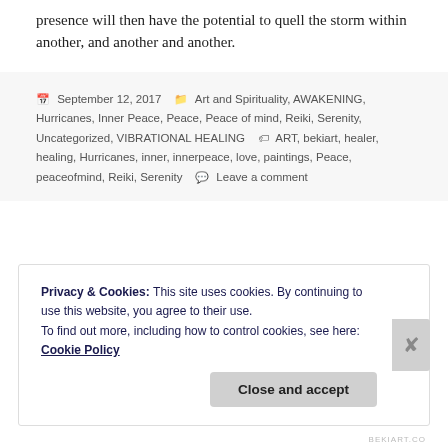presence will then have the potential to quell the storm within another, and another and another.
September 12, 2017  Art and Spirituality, AWAKENING, Hurricanes, Inner Peace, Peace, Peace of mind, Reiki, Serenity, Uncategorized, VIBRATIONAL HEALING  ART, bekiart, healer, healing, Hurricanes, inner, innerpeace, love, paintings, Peace, peaceofmind, Reiki, Serenity  Leave a comment
Privacy & Cookies: This site uses cookies. By continuing to use this website, you agree to their use.
To find out more, including how to control cookies, see here: Cookie Policy
Close and accept